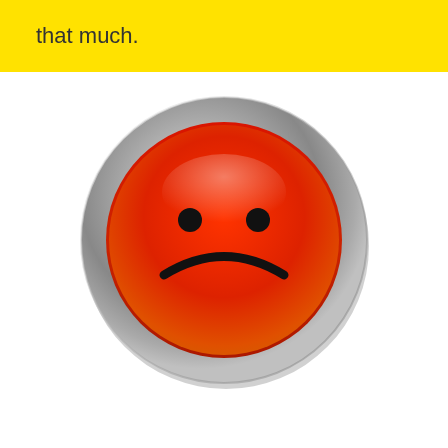that much.
[Figure (illustration): A glossy red-orange sad face emoji button with a metallic gray ring border. The face has two black dot eyes and a downward curved frown mouth. The face has a gradient from bright red at the top to orange at the bottom, with a white glossy highlight near the top.]